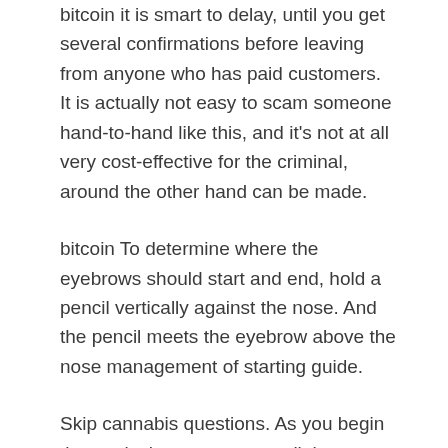bitcoin it is smart to delay, until you get several confirmations before leaving from anyone who has paid customers. It is actually not easy to scam someone hand-to-hand like this, and it's not at all very cost-effective for the criminal, around the other hand can be made.
bitcoin To determine where the eyebrows should start and end, hold a pencil vertically against the nose. And the pencil meets the eyebrow above the nose management of starting guide.
Skip cannabis questions. As you begin the particular test, answer all the questions, you confident in, first. Every time you pass around the hard question, take slow deep breaths again, allowing your body to relax and regulate itself . to concentrate on the easy difficulties.
Many dermatologists warn however that shaving against bitcoin the hair growth can cause ingrown hair and irritation and it will make the skin sore and sensitive.